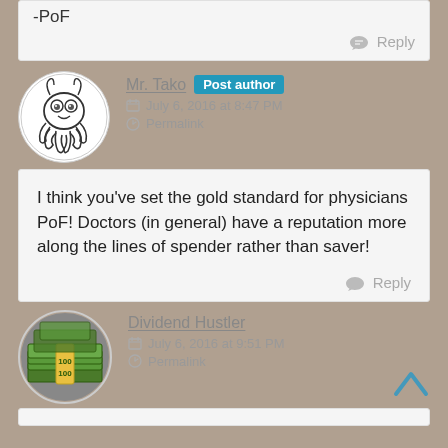-PoF
Reply
Mr. Tako  Post author
July 6, 2016 at 8:47 PM
Permalink
I think you’ve set the gold standard for physicians PoF! Doctors (in general) have a reputation more along the lines of spender rather than saver!
Reply
Dividend Hustler
July 6, 2016 at 9:51 PM
Permalink